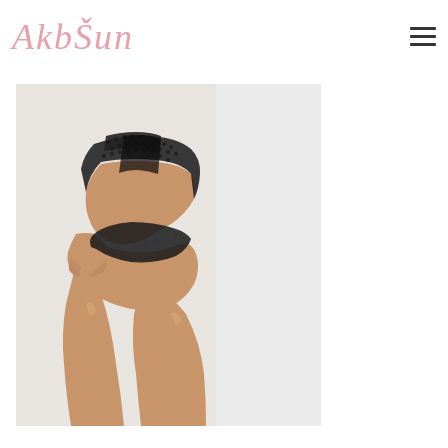AkbŠun (logo) with hamburger menu icon
[Figure (photo): A woman's torso and legs in a black dotted/mesh bodysuit against a light grey/white background. She has her hands on her hip and thigh. The photo is cropped showing from approximately the chest down to mid-thigh.]